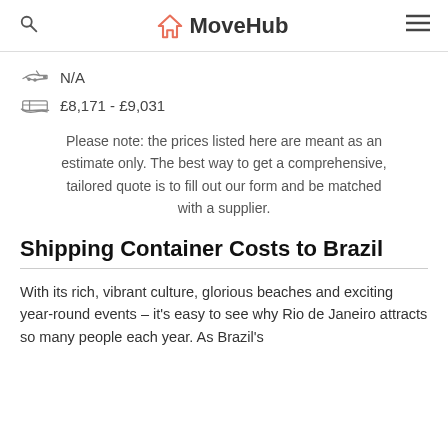MoveHub
N/A
£8,171 - £9,031
Please note: the prices listed here are meant as an estimate only. The best way to get a comprehensive, tailored quote is to fill out our form and be matched with a supplier.
Shipping Container Costs to Brazil
With its rich, vibrant culture, glorious beaches and exciting year-round events – it's easy to see why Rio de Janeiro attracts so many people each year. As Brazil's